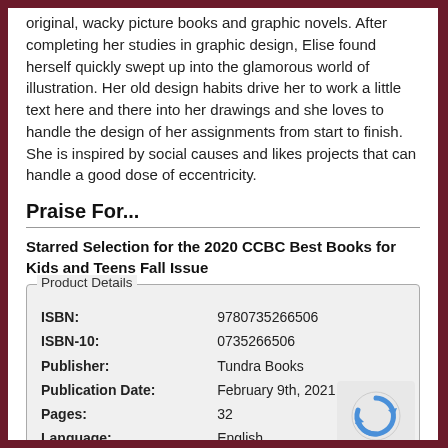original, wacky picture books and graphic novels. After completing her studies in graphic design, Elise found herself quickly swept up into the glamorous world of illustration. Her old design habits drive her to work a little text here and there into her drawings and she loves to handle the design of her assignments from start to finish. She is inspired by social causes and likes projects that can handle a good dose of eccentricity.
Praise For...
Starred Selection for the 2020 CCBC Best Books for Kids and Teens Fall Issue
| ISBN: | 9780735266506 |
| ISBN-10: | 0735266506 |
| Publisher: | Tundra Books |
| Publication Date: | February 9th, 2021 |
| Pages: | 32 |
| Language: | English |